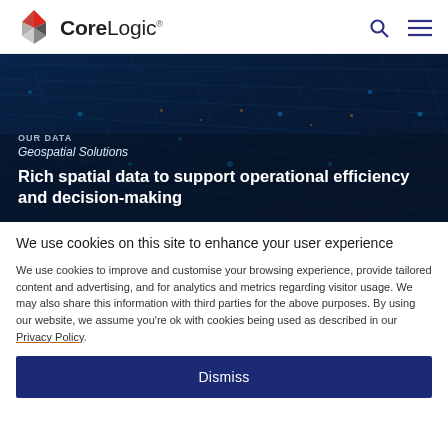[Figure (logo): CoreLogic logo with geometric diamond shape in red and grey, followed by CoreLogic wordmark]
[Figure (screenshot): Hero banner with dark blue network/circuit board background. Text overlay: OUR DATA, Geospatial Solutions, Rich spatial data to support operational efficiency and decision-making]
We use cookies on this site to enhance your user experience
We use cookies to improve and customise your browsing experience, provide tailored content and advertising, and for analytics and metrics regarding visitor usage. We may also share this information with third parties for the above purposes. By using our website, we assume you're ok with cookies being used as described in our Privacy Policy.
Dismiss